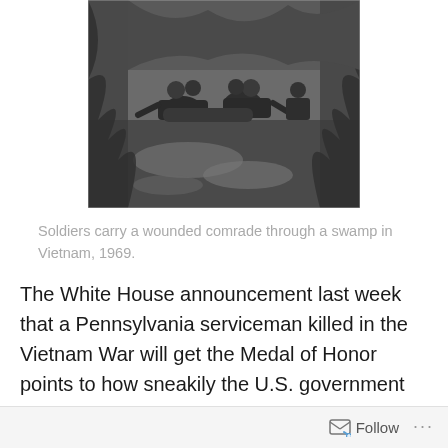[Figure (photo): Black and white photograph of soldiers carrying a wounded comrade through a swamp in Vietnam, 1969. Several soldiers are grouped together in shallow water surrounded by dense vegetation.]
Soldiers carry a wounded comrade through a swamp in Vietnam, 1969.
The White House announcement last week that a Pennsylvania serviceman killed in the Vietnam War will get the Medal of Honor points to how sneakily the U.S. government conducted the war.
Air Force Chief Master Sgt. Richard L. Etchberger of
Follow ...